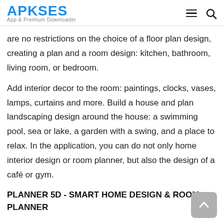APKSES App & Premium Downloader
are no restrictions on the choice of a floor plan design, creating a plan and a room design: kitchen, bathroom, living room, or bedroom.
Add interior decor to the room: paintings, clocks, vases, lamps, curtains and more. Build a house and plan landscaping design around the house: a swimming pool, sea or lake, a garden with a swing, and a place to relax. In the application, you can do not only home interior design or room planner, but also the design of a café or gym.
PLANNER 5D - SMART HOME DESIGN & ROOM PLANNER